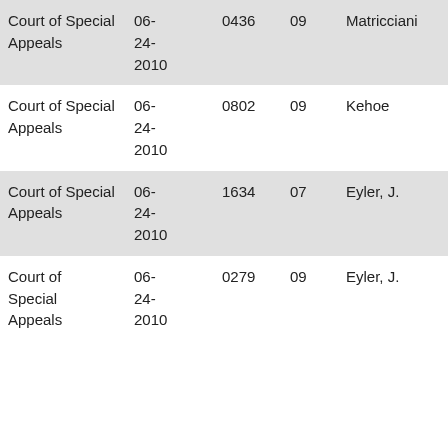| Court of Special Appeals | 06-24-2010 | 0436 | 09 | Matricciani | MD |
| Court of Special Appeals | 06-24-2010 | 0802 | 09 | Kehoe | The |
| Court of Special Appeals | 06-24-2010 | 1634 | 07 | Eyler, J. | Sm |
| Court of Special Appeals | 06-24-2010 | 0279 | 09 | Eyler, J. | Bal Str Par |